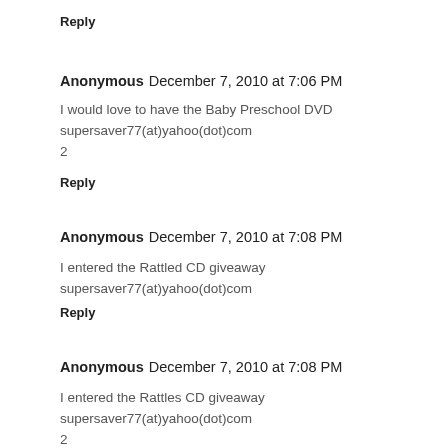Reply
Anonymous  December 7, 2010 at 7:06 PM
I would love to have the Baby Preschool DVD
supersaver77(at)yahoo(dot)com
2
Reply
Anonymous  December 7, 2010 at 7:08 PM
I entered the Rattled CD giveaway
supersaver77(at)yahoo(dot)com
Reply
Anonymous  December 7, 2010 at 7:08 PM
I entered the Rattles CD giveaway
supersaver77(at)yahoo(dot)com
2